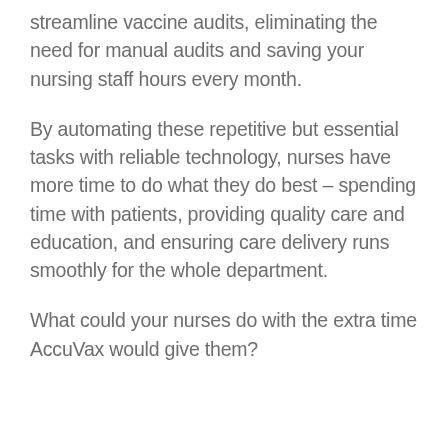streamline vaccine audits, eliminating the need for manual audits and saving your nursing staff hours every month.
By automating these repetitive but essential tasks with reliable technology, nurses have more time to do what they do best – spending time with patients, providing quality care and education, and ensuring care delivery runs smoothly for the whole department.
What could your nurses do with the extra time AccuVax would give them?